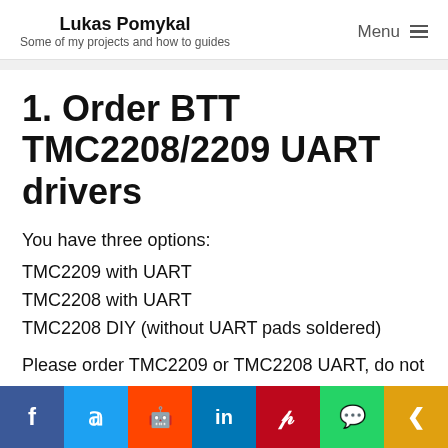Lukas Pomykal
Some of my projects and how to guides
1. Order BTT TMC2208/2209 UART drivers
You have three options:
TMC2209 with UART
TMC2208 with UART
TMC2208 DIY (without UART pads soldered)
Please order TMC2209 or TMC2208 UART, do not